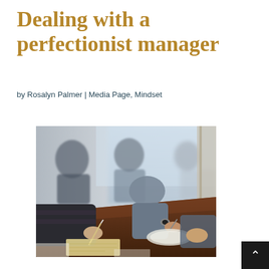Dealing with a perfectionist manager
by Rosalyn Palmer | Media Page, Mindset
[Figure (photo): People sitting at a wooden table in a meeting or work session, writing notes. Shot from an angle showing multiple people with arms on table, some writing, photographed with shallow depth of field and natural window light in the background.]